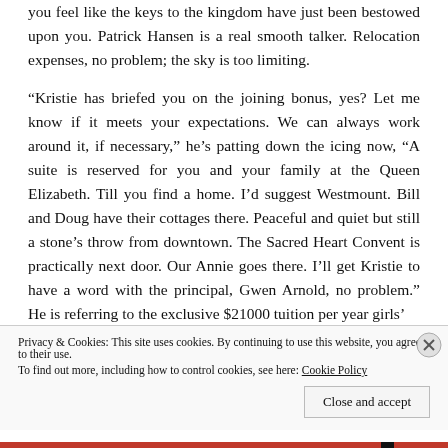you feel like the keys to the kingdom have just been bestowed upon you. Patrick Hansen is a real smooth talker. Relocation expenses, no problem; the sky is too limiting.
“Kristie has briefed you on the joining bonus, yes? Let me know if it meets your expectations. We can always work around it, if necessary,” he’s patting down the icing now, “A suite is reserved for you and your family at the Queen Elizabeth. Till you find a home. I’d suggest Westmount. Bill and Doug have their cottages there. Peaceful and quiet but still a stone’s throw from downtown. The Sacred Heart Convent is practically next door. Our Annie goes there. I’ll get Kristie to have a word with the principal, Gwen Arnold, no problem.” He is referring to the exclusive $21000 tuition per year girls’
Privacy & Cookies: This site uses cookies. By continuing to use this website, you agree to their use. To find out more, including how to control cookies, see here: Cookie Policy
Close and accept